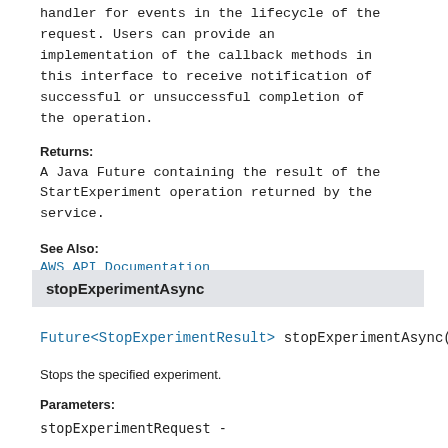handler for events in the lifecycle of the request. Users can provide an implementation of the callback methods in this interface to receive notification of successful or unsuccessful completion of the operation.
Returns:
A Java Future containing the result of the StartExperiment operation returned by the service.
See Also:
AWS API Documentation
stopExperimentAsync
Future<StopExperimentResult> stopExperimentAsync(
Stops the specified experiment.
Parameters:
stopExperimentRequest -